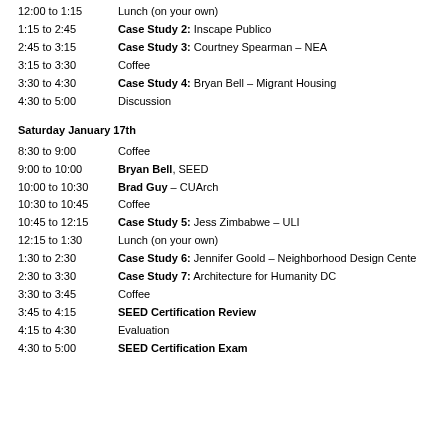12:00 to 1:15 — Lunch (on your own)
1:15 to 2:45 — Case Study 2: Inscape Publico
2:45 to 3:15 — Case Study 3: Courtney Spearman – NEA
3:15 to 3:30 — Coffee
3:30 to 4:30 — Case Study 4: Bryan Bell – Migrant Housing
4:30 to 5:00 — Discussion
Saturday January 17th
8:30 to 9:00 — Coffee
9:00 to 10:00 — Bryan Bell, SEED
10:00 to 10:30 — Brad Guy – CUArch
10:30 to 10:45 — Coffee
10:45 to 12:15 — Case Study 5: Jess Zimbabwe – ULI
12:15 to 1:30 — Lunch (on your own)
1:30 to 2:30 — Case Study 6: Jennifer Goold – Neighborhood Design Center
2:30 to 3:30 — Case Study 7: Architecture for Humanity DC
3:30 to 3:45 — Coffee
3:45 to 4:15 — SEED Certification Review
4:15 to 4:30 — Evaluation
4:30 to 5:00 — SEED Certification Exam